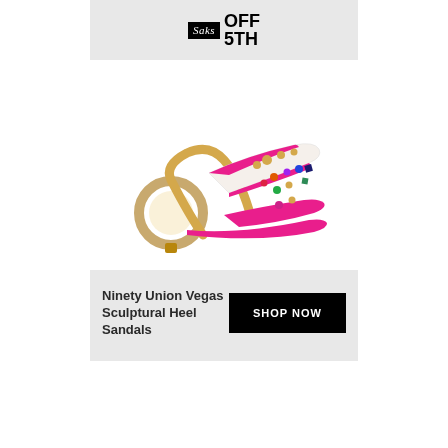[Figure (logo): Saks OFF 5TH logo in header of advertisement]
[Figure (photo): Ninety Union Vegas Sculptural Heel Sandals - a mule sandal with clear/white studded upper, hot pink patent trim and sole, and a large gold ring sculptural heel]
Ninety Union Vegas Sculptural Heel Sandals
SHOP NOW